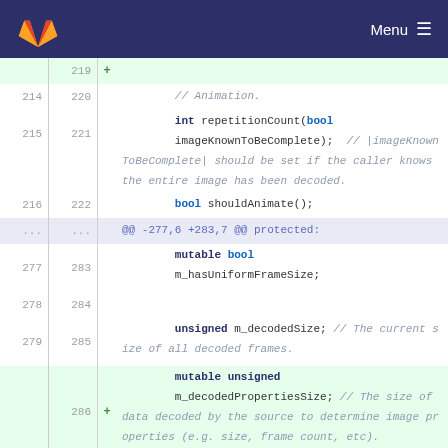GitLab | Menu
[Figure (screenshot): Code diff view showing C++ header file changes with line numbers on left (old and new), added lines highlighted in green, and a hunk separator. Code includes animation-related methods: repetitionCount(bool imageKnownToBeComplete), shouldAnimate(), mutable bool m_hasUniformFrameSize, unsigned m_decodedSize, and new added line mutable unsigned m_decodedPropertiesSize with comments.]